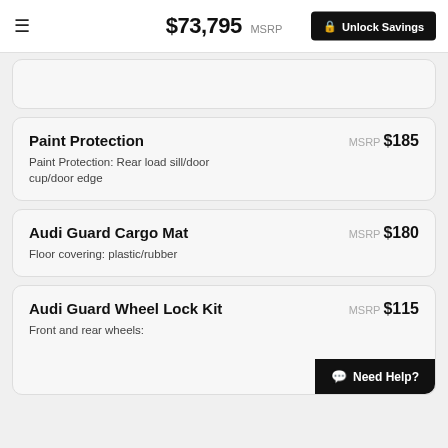$73,795 MSRP  Unlock Savings
Paint Protection
Paint Protection: Rear load sill/door cup/door edge
MSRP $185
Audi Guard Cargo Mat
Floor covering: plastic/rubber
MSRP $180
Audi Guard Wheel Lock Kit
Front and rear wheels:
MSRP $115
Need Help?